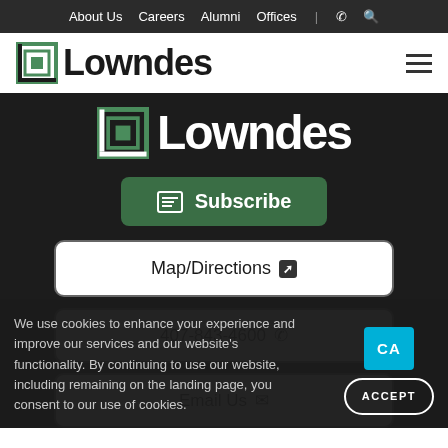About Us  Careers  Alumni  Offices  |  📞  🔍
[Figure (logo): Lowndes law firm logo with square icon and wordmark in black on white background, plus hamburger menu icon]
[Figure (logo): Lowndes logo in white on dark/black background]
Subscribe
Map/Directions ↗
407-843-4600 📞
Email Us ✉
We use cookies to enhance your experience and improve our services and our website's functionality. By continuing to use our website, including remaining on the landing page, you consent to our use of cookies.